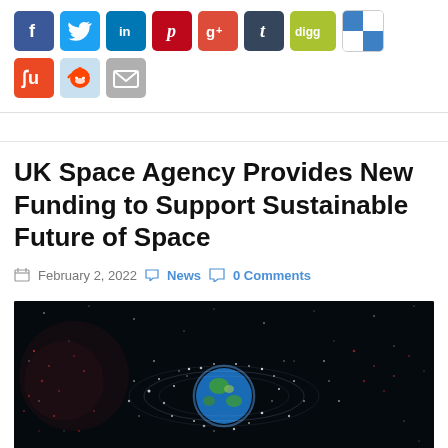[Figure (screenshot): Social media sharing icons: Facebook (blue), Twitter (blue), LinkedIn (blue), Pinterest (red), Google+ (red), Tumblr (dark blue), Digg (olive), Delicious (checkered), StumbleUpon (orange), Reddit (light blue), Email (gray)]
UK Space Agency Provides New Funding to Support Sustainable Future of Space
February 2, 2022  News  0 Comments
[Figure (photo): Illustration of Earth surrounded by a dense ring of space debris and satellites in dark space]